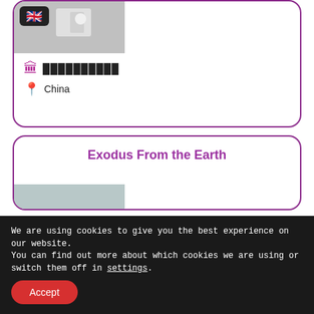[Figure (photo): Top card: photo of industrial/lab equipment with UK flag icon overlay, grey background]
🏛 ██████████
📍 China
Exodus From the Earth
[Figure (photo): Bottom card: photo of a translucent glassy/bubbly sculptural object on grey background]
We are using cookies to give you the best experience on our website.
You can find out more about which cookies we are using or switch them off in settings.
Accept